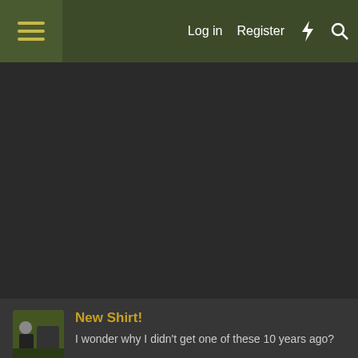Log in  Register
[Figure (screenshot): Dark forum page background area]
New Shirt!
I wonder why I didn't get one of these 10 years ago?
Report Ad